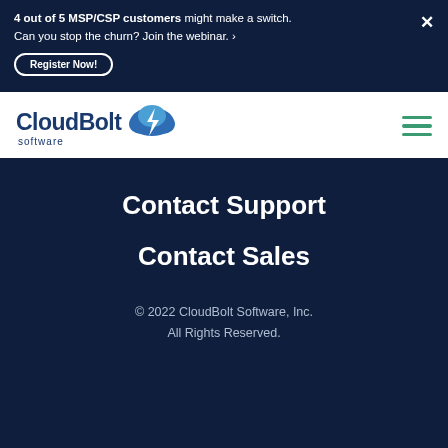4 out of 5 MSP/CSP customers might make a switch. Can you stop the churn? Join the webinar. › Register Now!
[Figure (logo): CloudBolt Software logo with cloud and lightning bolt icon]
Contact Support
Contact Sales
© 2022 CloudBolt Software, Inc. All Rights Reserved.